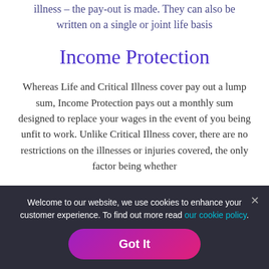illness – the pay-out is made. They can also be written on a single or joint life basis
Income Protection
Whereas Life and Critical Illness cover pay out a lump sum, Income Protection pays out a monthly sum designed to replace your wages in the event of you being unfit to work. Unlike Critical Illness cover, there are no restrictions on the illnesses or injuries covered, the only factor being whether
Welcome to our website, we use cookies to enhance your customer experience. To find out more read our cookie policy.
Got It